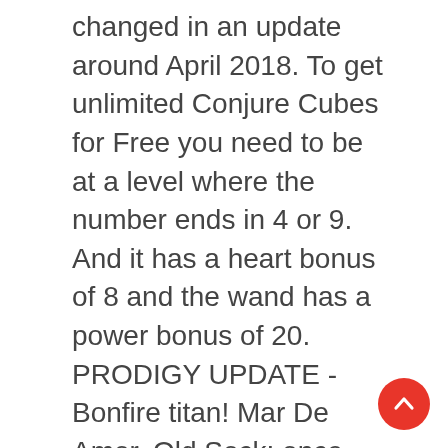changed in an update around April 2018. To get unlimited Conjure Cubes for Free you need to be at a level where the number ends in 4 or 9. And it has a heart bonus of 8 and the wand has a power bonus of 20. PRODIGY UPDATE - Bonfire titan! Mar De Amor, Old Sock: once you get 100 you automatically go to level 101 Tooth: Look's like the tooth of some monster. 1 Appearance 2 In-Game Description 3 Perfect Pairing 4 How to Obtain 5 Trivia 6 World 7 Gallery It is a steel rod topped with a large teal crystal orb, and a scarlet, winged snake-like dragon clutches the orb. Draconyx The snake-like dragon which clutches the ord has a yellow tuft of hair and eyes, a white underbelly, and mahogany scales. Prodigy Technique to get
[Figure (other): Red circular scroll-to-top button with upward chevron arrow, positioned bottom-right]